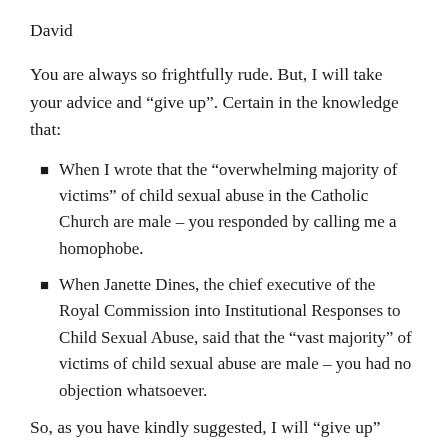David
You are always so frightfully rude. But, I will take your advice and “give up”. Certain in the knowledge that:
When I wrote that the “overwhelming majority of victims” of child sexual abuse in the Catholic Church are male – you responded by calling me a homophobe.
When Janette Dines, the chief executive of the Royal Commission into Institutional Responses to Child Sexual Abuse, said that the “vast majority” of victims of child sexual abuse are male – you had no objection whatsoever.
So, as you have kindly suggested, I will “give up”